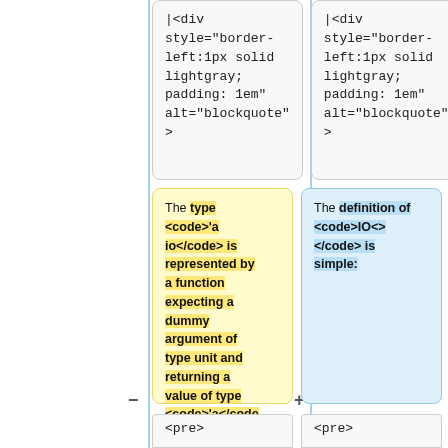|<div style="border-left:1px solid lightgray; padding: 1em" alt="blockquote" >
|<div style="border-left:1px solid lightgray; padding: 1em" alt="blockquote" >
The type <code>'a io</code> is represented by a function expecting a dummy argument of type unit and returning a value of type <code>'a</code>.
The definition of <code>IO<></code> is simple:
<pre>
<pre>